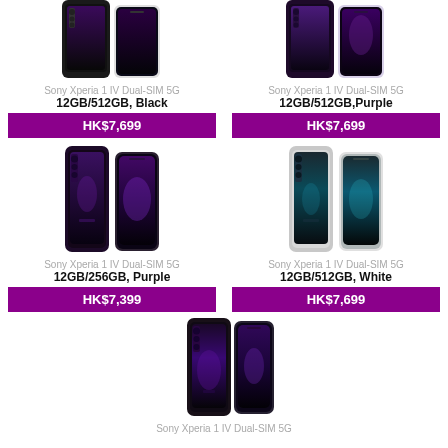[Figure (photo): Sony Xperia 1 IV Dual-SIM 5G 12GB/512GB Black smartphone - back and front view]
Sony Xperia 1 IV Dual-SIM 5G
12GB/512GB, Black
HK$7,699
[Figure (photo): Sony Xperia 1 IV Dual-SIM 5G 12GB/512GB Purple smartphone - back and front view]
Sony Xperia 1 IV Dual-SIM 5G
12GB/512GB,Purple
HK$7,699
[Figure (photo): Sony Xperia 1 IV Dual-SIM 5G 12GB/256GB Purple smartphone - back and front view]
Sony Xperia 1 IV Dual-SIM 5G
12GB/256GB, Purple
HK$7,399
[Figure (photo): Sony Xperia 1 IV Dual-SIM 5G 12GB/512GB White smartphone - back and front view]
Sony Xperia 1 IV Dual-SIM 5G
12GB/512GB, White
HK$7,699
[Figure (photo): Sony Xperia 1 IV Dual-SIM 5G Black smartphone - back and front view]
Sony Xperia 1 IV Dual-SIM 5G